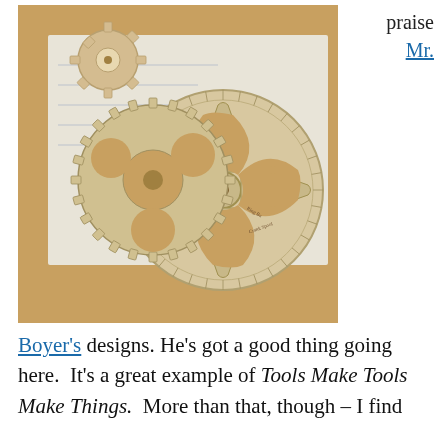praise
Mr.
[Figure (photo): Photograph of two wooden gear shapes (one small with pointed teeth, one large with spoked wheel design and fine toothed rim) resting on engineering/blueprint paper on a wooden surface. The large gear resembles a clock or clockwork wheel with cutout spokes.]
Boyer's designs. He's got a good thing going here.  It's a great example of Tools Make Tools Make Things.  More than that, though – I find